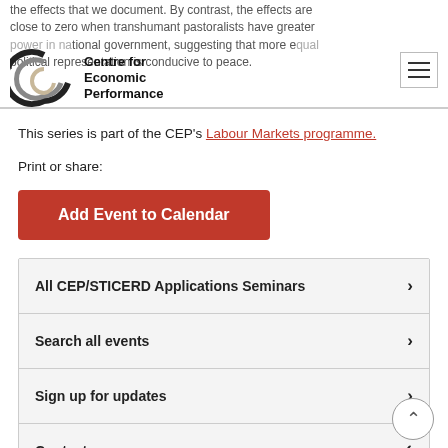Centre for Economic Performance
the effects that we document. By contrast, the effects are close to zero when transhumant pastoralists have greater power in national government, suggesting that more equal political representation is conducive to peace.
This series is part of the CEP's Labour Markets programme.
Print or share:
Add Event to Calendar
All CEP/STICERD Applications Seminars
Search all events
Sign up for updates
Contact